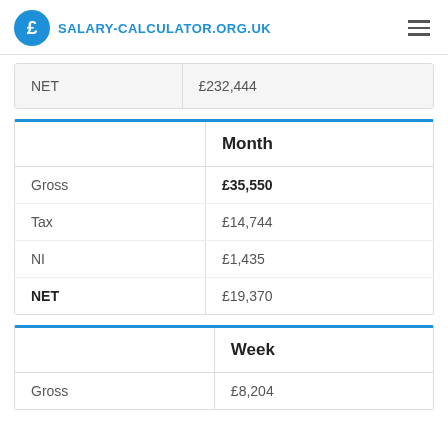SALARY-CALCULATOR.ORG.UK
|  |  |
| --- | --- |
| NET | £232,444 |
|  | Month |
| --- | --- |
| Gross | £35,550 |
| Tax | £14,744 |
| NI | £1,435 |
| NET | £19,370 |
|  | Week |
| --- | --- |
| Gross | £8,204 |